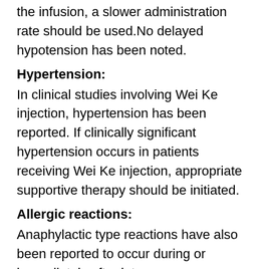the infusion, a slower administration rate should be used.No delayed hypotension has been noted.
Hypertension:
In clinical studies involving Wei Ke injection, hypertension has been reported. If clinically significant hypertension occurs in patients receiving Wei Ke injection, appropriate supportive therapy should be initiated.
Allergic reactions:
Anaphylactic type reactions have also been reported to occur during or immediately after intravenous administration of Wei Ke. The role that concentration or rate of infusion plays in the development of anaphylactic type reactions is uncertain. Blood pressure usually normalizes within a few hours after cessation of the infusion.